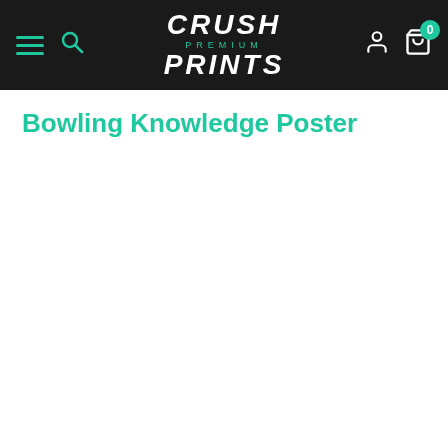Crush Premium Prints - Navigation header with hamburger menu, search, logo, user icon, and cart (0)
Bowling Knowledge Poster